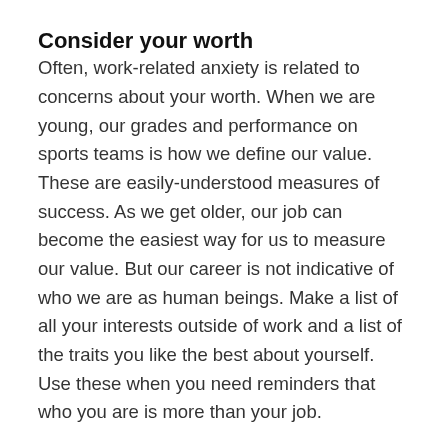Consider your worth
Often, work-related anxiety is related to concerns about your worth. When we are young, our grades and performance on sports teams is how we define our value. These are easily-understood measures of success. As we get older, our job can become the easiest way for us to measure our value. But our career is not indicative of who we are as human beings. Make a list of all your interests outside of work and a list of the traits you like the best about yourself. Use these when you need reminders that who you are is more than your job.